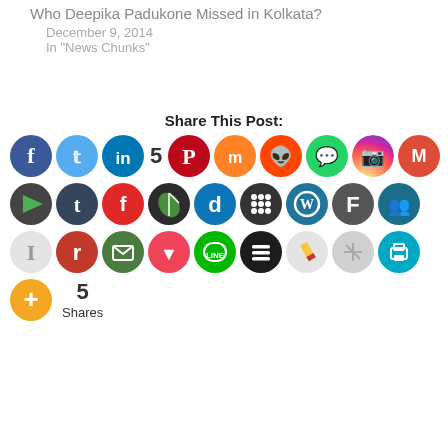Who Deepika Padukone Missed in Kolkata?
December 9, 2014
In "News Chunks"
Share This Post:
[Figure (infographic): Social media share buttons: row 1: Facebook, Twitter, LinkedIn, 5 (count), Pinterest, Mix, Reddit, WhatsApp, Instagram, Gmail. Row 2: Parler(?), Tumblr, Flipboard, Pocket(?), Dailymotion(?), MySpace(?), WordPress, Fark, Friendster(?). Row 3: Instapaper, Reddit(r), Email, Pocket, Line, Buffer, Edit, Apple News, Print. Plus button with 5 Shares below.]